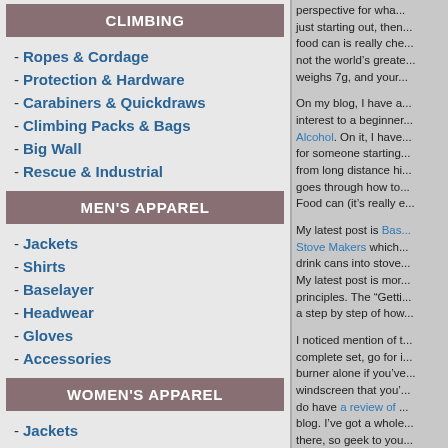CLIMBING
Ropes & Cordage
Protection & Hardware
Carabiners & Quickdraws
Climbing Packs & Bags
Big Wall
Rescue & Industrial
MEN'S APPAREL
Jackets
Shirts
Baselayer
Headwear
Gloves
Accessories
WOMEN'S APPAREL
Jackets
Shirts
Baselayer
Headwear
Gloves
perspective for wha... just starting out, then... food can is really che... not the world's greate... weighs 7g, and your...
On my blog, I have a... interest to a beginner... Alcohol. On it, I have... for someone starting... from long distance hi... goes through how to... Food can (it's really e...
My latest post is Bas... Stove Makers which... drink cans into stove... My latest post is more... principles. The "Getti... a step by step of how...
I noticed mention of t... complete set, go for i... burner alone if you've... windscreen that you'... do have a review of ... blog. I've got a whole... there, so geek to you...
Now, you'll have to p... there are a couple of...